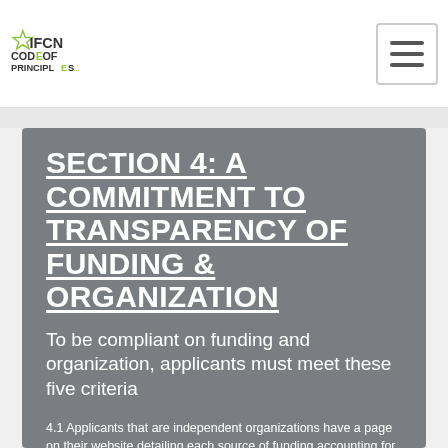IFCN CODE OF PRINCIPLES
SECTION 4: A COMMITMENT TO TRANSPARENCY OF FUNDING & ORGANIZATION
To be compliant on funding and organization, applicants must meet these five criteria
4.1 Applicants that are independent organizations have a page on their website detailing each source of funding accounting for 5% or more of total revenue for its previous financial year. This page also sets out the legal form in which the organization is registered (e.g. as a non profit, as